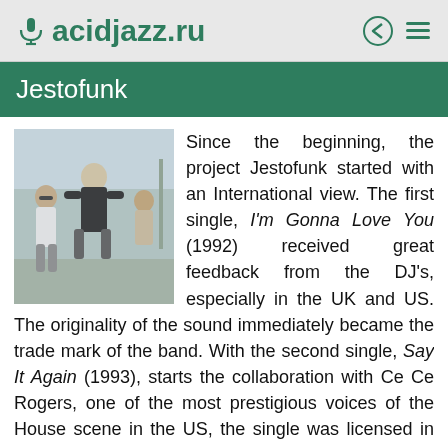acidjazz.ru
Jestofunk
[Figure (photo): Black and white photo of three members of Jestofunk band outdoors]
Since the beginning, the project Jestofunk started with an International view. The first single, I'm Gonna Love You (1992) received great feedback from the DJ's, especially in the UK and US. The originality of the sound immediately became the trade mark of the band. With the second single, Say It Again (1993), starts the collaboration with Ce Ce Rogers, one of the most prestigious voices of the House scene in the US, the single was licensed in different countries in Europe, and